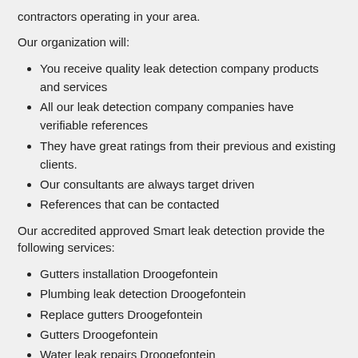contractors operating in your area.
Our organization will:
You receive quality leak detection company products and services
All our leak detection company companies have verifiable references
They have great ratings from their previous and existing clients.
Our consultants are always target driven
References that can be contacted
Our accredited approved Smart leak detection provide the following services:
Gutters installation Droogefontein
Plumbing leak detection Droogefontein
Replace gutters Droogefontein
Gutters Droogefontein
Water leak repairs Droogefontein
Water leak detectors Droogefontein
Rainwater gutters Droogefontein
Industrial gutters Droogefontein
Water leak detection Droogefontein
Underground water leak detection Droogefontein
Pipe installer Droogefontein
Gutter repair cost Droogefontein
Toilet installations Droogefontein
Water leaks detection Droogefontein
Gutter cleaning Droogefontein